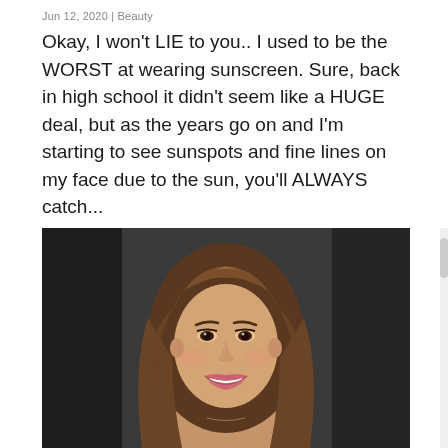Jun 12, 2020 | Beauty
Okay, I won't LIE to you.. I used to be the WORST at wearing sunscreen. Sure, back in high school it didn't seem like a HUGE deal, but as the years go on and I'm starting to see sunspots and fine lines on my face due to the sun, you'll ALWAYS catch...
[Figure (photo): Portrait photo of a young woman with long brown hair, smiling, wearing subtle makeup, photographed against a dark background]